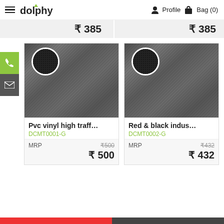dolphy  Profile  Bag (0)
₹ 385   ₹ 385
[Figure (photo): Product image of Pvc vinyl high traffic mat with circular zoom inset showing texture detail]
Pvc vinyl high traff…
DCMT0001-G
MRP  ₹500  ₹ 500
[Figure (photo): Product image of Red & black industrial mat with circular zoom inset showing texture detail]
Red & black indus…
DCMT0002-G
MRP  ₹432  ₹ 432